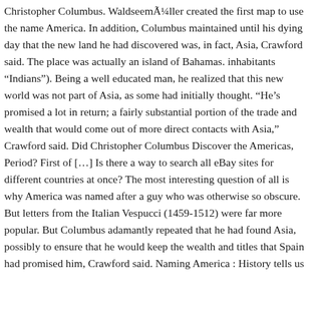Christopher Columbus. Waldseemüller created the first map to use the name America. In addition, Columbus maintained until his dying day that the new land he had discovered was, in fact, Asia, Crawford said. The place was actually an island of Bahamas. inhabitants "Indians"). Being a well educated man, he realized that this new world was not part of Asia, as some had initially thought. "He's promised a lot in return; a fairly substantial portion of the trade and wealth that would come out of more direct contacts with Asia," Crawford said. Did Christopher Columbus Discover the Americas, Period? First of […] Is there a way to search all eBay sites for different countries at once? The most interesting question of all is why America was named after a guy who was otherwise so obscure. But letters from the Italian Vespucci (1459-1512) were far more popular. But Columbus adamantly repeated that he had found Asia, possibly to ensure that he would keep the wealth and titles that Spain had promised him, Crawford said. Naming America : History tells us